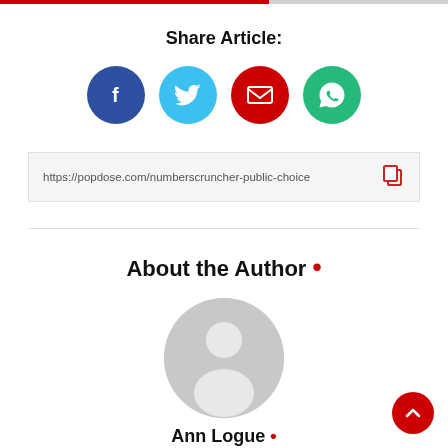Share Article:
[Figure (infographic): Four social share buttons: Facebook (blue circle with f), Twitter (light blue circle with bird), Email (red circle with envelope), WhatsApp (green circle with phone)]
https://popdose.com/numberscruncher-public-choice
About the Author •
[Figure (illustration): Gray circular avatar placeholder with silhouette of a person]
Ann Logue •